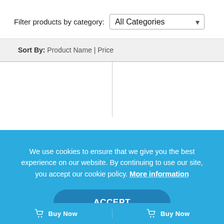Filter products by category: All Categories
Sort By: Product Name | Price
[Figure (screenshot): Two empty white product grid cells side by side]
We use cookies to ensure that we give you the best experience on our website. By continuing to use our site, you accept our cookie policy. More information
ACCEPT
Buy Now   Buy Now